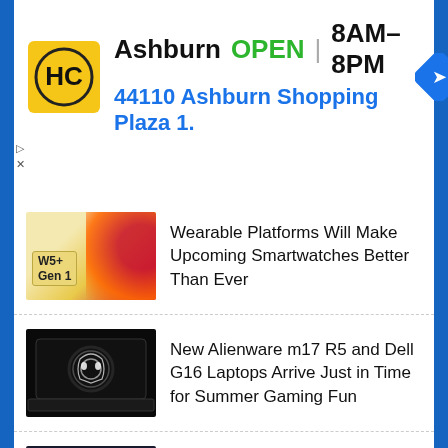[Figure (screenshot): HC (Honest Cleaner) store ad banner showing Ashburn location, OPEN status, hours 8AM-8PM, address 44110 Ashburn Shopping Plaza 1., and navigation arrow icon]
Ashburn OPEN | 8AM–8PM
44110 Ashburn Shopping Plaza 1.
[Figure (photo): Qualcomm W5+ Gen 1 chipset promotional image with flame graphic on yellow-gold background]
Wearable Platforms Will Make Upcoming Smartwatches Better Than Ever
[Figure (photo): Alienware m17 R5 gaming laptop on dark background with glowing alien head logo]
New Alienware m17 R5 and Dell G16 Laptops Arrive Just in Time for Summer Gaming Fun
[Figure (photo): Nomad 10 Year Journey Sale promotional banner with brown leather phone case and earbuds case]
Nomad Celebrates Its 10th Anniversary with a 30% Off Side-Wide Sale!